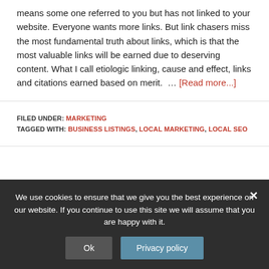means some one referred to you but has not linked to your website. Everyone wants more links. But link chasers miss the most fundamental truth about links, which is that the most valuable links will be earned due to deserving content. What I call etiologic linking, cause and effect, links and citations earned based on merit.  … [Read more...]
FILED UNDER: MARKETING
TAGGED WITH: BUSINESS LISTINGS, LOCAL MARKETING, LOCAL SEO
We use cookies to ensure that we give you the best experience on our website. If you continue to use this site we will assume that you are happy with it.